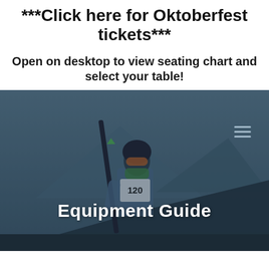***Click here for Oktoberfest tickets***
Open on desktop to view seating chart and select your table!
[Figure (screenshot): Screenshot of a website showing a skier athlete holding ski poles, wearing a helmet and bib number 120, overlaid with a semi-transparent dark blue tint. The text 'Equipment Guide' appears in bold white text near the bottom. A hamburger menu icon is visible in the upper right area of the image.]